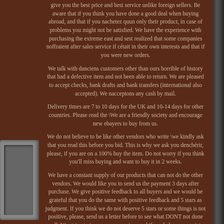give you the best price and best service unlike foreign sellers. Be aware that if you think you have done a good deal when buying abroad, and that if you nachetez quun only their product, in case of problems you might not be satisfied. We have the experience with purchasing the extreme east and sest realized that some companies noffraient after sales service if cétait in their own interests and that if you were new orders.
We talk with danciens customers other than ours horrible of history that had a defective item and not been able to return. We are pleased to accept checks, bank drafts and bank transfers (international also accepted). We nacceptons any cash by mail.
Delivery times are 7 to 10 days for the UK and 10-14 days for other countries. Please read the \We are a friendly society and encourage new ebayers to buy from us.
We do not believe to be like other vendors who write \we kindly ask that you read this before you bid. This is why we ask you denchérir, please, if you are on a 100% buy the item. Do not worry if you think you'll miss buying and want to buy it in 2 weeks.
We have a constant supply of our products that can not do the other vendors. We would like you to send us the payment 3 days after purchase. We give positive feedback to all buyers and we would be grateful that you do the same with positive feedback and 5 stars as judgment. If you think we do not deserve 5 stars or some things is not positive, please, send us a letter before to see what DONT not done well. We strive to improve our services and if needed we appreciate your comments in advance.
We would like that in case of problem you contact us immediately before leaving feedback to correct any problems. Please call us on +44 151 523